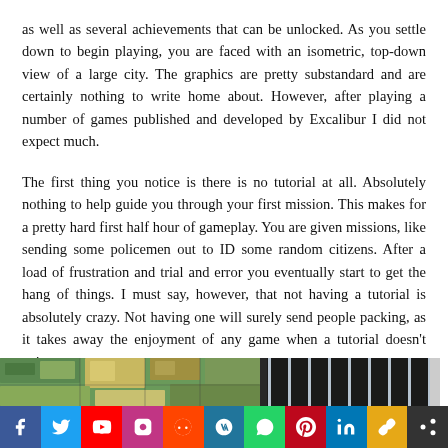as well as several achievements that can be unlocked. As you settle down to begin playing, you are faced with an isometric, top-down view of a large city. The graphics are pretty substandard and are certainly nothing to write home about. However, after playing a number of games published and developed by Excalibur I did not expect much.

The first thing you notice is there is no tutorial at all. Absolutely nothing to help guide you through your first mission. This makes for a pretty hard first half hour of gameplay. You are given missions, like sending some policemen out to ID some random citizens. After a load of frustration and trial and error you eventually start to get the hang of things. I must say, however, that not having a tutorial is absolutely crazy. Not having one will surely send people packing, as it takes away the enjoyment of any game when a tutorial doesn't exist.
[Figure (photo): Two side-by-side screenshots of a top-down isometric city game. Left image shows green and yellow city blocks from above. Right image shows a dark scene with bright vertical light streaks resembling buildings at night.]
[Figure (infographic): Social media sharing bar with icons for Facebook, Twitter, YouTube, Instagram, Reddit, WordPress, WhatsApp, Pinterest, LinkedIn, Copy Link, and Share More.]